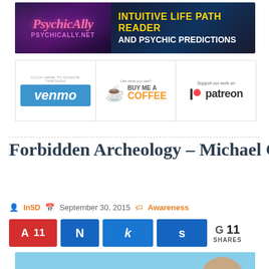[Figure (illustration): PsychicAlly.net banner ad — 'Intuitive Life Path Reader and Psychic Predictions']
[Figure (illustration): Three donation/support option banners: Venmo, Buy Me A Coffee, and Patreon]
Forbidden Archeology – Michael Cremo
In5D  September 30, 2015  Awareness
A 11  N  k  s  G 11 SHARES
[Figure (photo): Partial image of Michael Cremo with a timeline graphic showing '1,000,000 Years Ago']